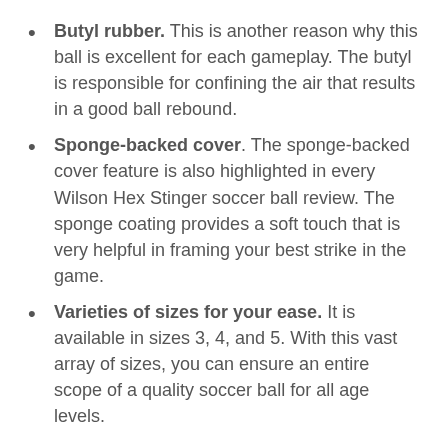Butyl rubber. This is another reason why this ball is excellent for each gameplay. The butyl is responsible for confining the air that results in a good ball rebound.
Sponge-backed cover. The sponge-backed cover feature is also highlighted in every Wilson Hex Stinger soccer ball review. The sponge coating provides a soft touch that is very helpful in framing your best strike in the game.
Varieties of sizes for your ease. It is available in sizes 3, 4, and 5. With this vast array of sizes, you can ensure an entire scope of a quality soccer ball for all age levels.
Anodized Synthetic Built